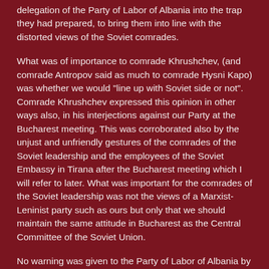delegation of the Party of Labor of Albania into the trap they had prepared, to bring them into line with the distorted views of the Soviet comrades.
What was of importance to comrade Khrushchev, (and comrade Antropov said as much to comrade Hysni Kapo) was whether we would "line up with Soviet side or not". Comrade Khrushchev expressed this opinion in other ways also, in his interjections against our Party at the Bucharest meeting. This was corroborated also by the unjust and unfriendly gestures of the comrades of the Soviet leadership and the employees of the Soviet Embassy in Tirana after the Bucharest meeting which I will refer to later. What was important for the comrades of the Soviet leadership was not the views of a Marxist-Leninist party such as ours but only that we should maintain the same attitude in Bucharest as the Central Committee of the Soviet Union.
No warning was given to the Party of Labor of Albania by the Communist Party of the Soviet Union which organized the Bucharest meeting that, on the occasion of the Congress of the Rumanian Labor Party, accusations would be brought